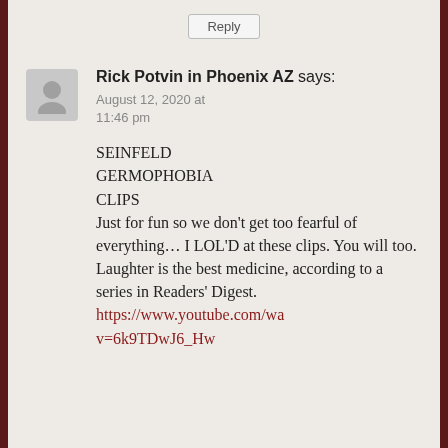Reply
Rick Potvin in Phoenix AZ says:
August 12, 2020 at 11:46 pm
SEINFELD GERMOPHOBIA CLIPS
Just for fun so we don't get too fearful of everything… I LOL'D at these clips. You will too. Laughter is the best medicine, according to a series in Readers' Digest. https://www.youtube.com/wa... v=6k9TDwJ6_Hw